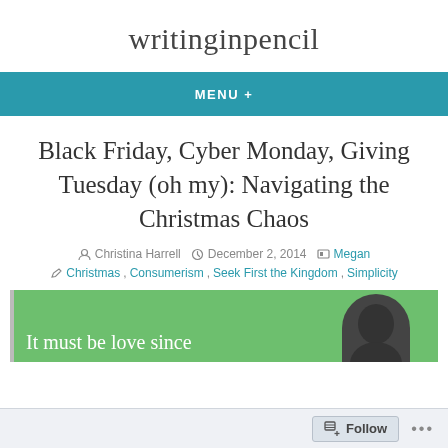writinginpencil
MENU +
Black Friday, Cyber Monday, Giving Tuesday (oh my): Navigating the Christmas Chaos
Christina Harrell   December 2, 2014   Megan
Christmas, Consumerism, Seek First the Kingdom, Simplicity
[Figure (photo): Featured blog post image with green background showing text 'It must be love since' and a person's silhouette photo on the right]